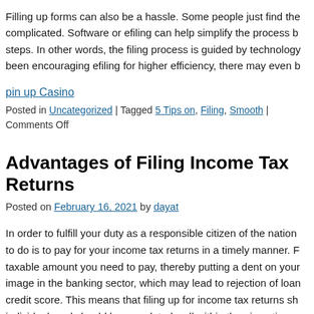Filling up forms can also be a hassle. Some people just find the complicated. Software or efiling can help simplify the process b steps. In other words, the filing process is guided by technology been encouraging efiling for higher efficiency, there may even b
pin up Casino
Posted in Uncategorized | Tagged 5 Tips on, Filing, Smooth | Comments Off
Advantages of Filing Income Tax Returns
Posted on February 16, 2021 by dayat
In order to fulfill your duty as a responsible citizen of the nation to do is to pay for your income tax returns in a timely manner. F taxable amount you need to pay, thereby putting a dent on your image in the banking sector, which may lead to rejection of loan credit score. This means that filing up for income tax returns sh individual, and should be completed well within the given time penalty payment at a later stage.